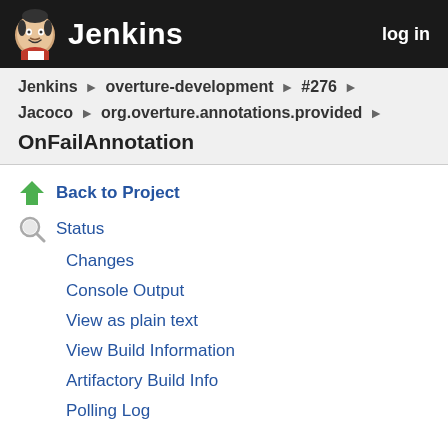Jenkins  log in
Jenkins ▶ overture-development ▶ #276 ▶
Jacoco ▶ org.overture.annotations.provided ▶
OnFailAnnotation
Back to Project
Status
Changes
Console Output
View as plain text
View Build Information
Artifactory Build Info
Polling Log